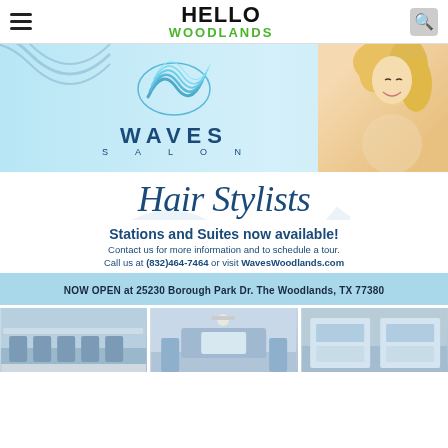HELLO WOODLANDS
[Figure (photo): Waves Salon banner with logo (wave graphic and text WAVES SALON) on light blue background, with a smiling blonde woman with curly hair on the right side]
Hair Stylists
Stations and Suites now available!
Contact us for more information and to schedule a tour.
Call us at (832)464-7464 or visit WavesWoodlands.com
NOW OPEN at 25230 Borough Park Dr. The Woodlands, TX 77380
[Figure (photo): Three interior photos of Waves Salon showing styling stations, reception area, and salon suites]